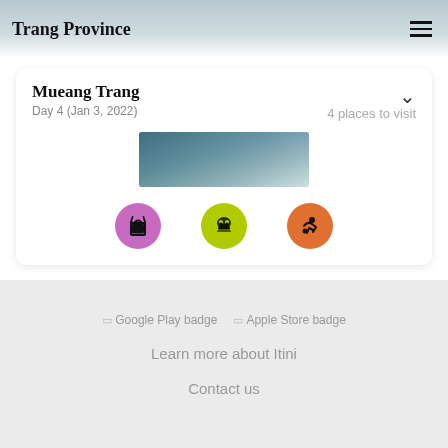Trang Province
Mueang Trang
Day 4 (Jan 3, 2022)
4 places to visit
[Figure (photo): A photo of a covered outdoor structure or market in Mueang Trang]
[Figure (infographic): Three colored icon circles: purple with shopping bag icon, yellow-green with people/nature icon, orange with activity/person icon]
Google Play badge
Apple Store badge
Learn more about Itini
Contact us